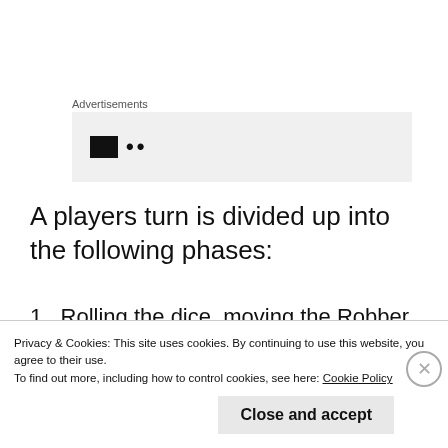Advertisements
[Figure (other): Advertisement placeholder box with dark icon and dots]
A players turn is divided up into the following phases:
1. Rolling the dice, moving the Robber and collecting Resources
2. Trading Resources with other players or
Privacy & Cookies: This site uses cookies. By continuing to use this website, you agree to their use.
To find out more, including how to control cookies, see here: Cookie Policy
Close and accept